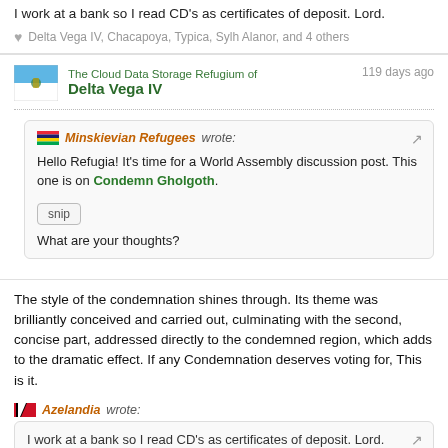I work at a bank so I read CD's as certificates of deposit. Lord.
Delta Vega IV, Chacapoya, Typica, Sylh Alanor, and 4 others
The Cloud Data Storage Refugium of Delta Vega IV — 119 days ago
Minskievian Refugees wrote: Hello Refugia! It's time for a World Assembly discussion post. This one is on Condemn Gholgoth.
snip
What are your thoughts?
The style of the condemnation shines through. Its theme was brilliantly conceived and carried out, culminating with the second, concise part, addressed directly to the condemned region, which adds to the dramatic effect. If any Condemnation deserves voting for, This is it.
Azelandia wrote: I work at a bank so I read CD's as certificates of deposit. Lord.
I ocassionally buy certain music albums which happen to be unavailable to me in MP3 format so in my favourite streaming service, so I still buy a CD every